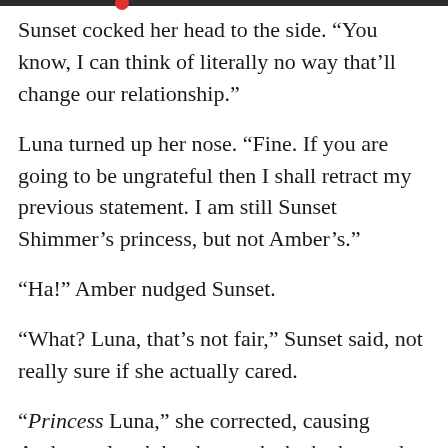Sunset cocked her head to the side. “You know, I can think of literally no way that’ll change our relationship.”
Luna turned up her nose. “Fine. If you are going to be ungrateful then I shall retract my previous statement. I am still Sunset Shimmer’s princess, but not Amber’s.”
“Ha!” Amber nudged Sunset.
“What? Luna, that’s not fair,” Sunset said, not really sure if she actually cared.
“Princess Luna,” she corrected, causing Amber to laugh hard enough she had to grab hold of Sunset to keep from falling out of the chariot.
Deciding to go along with Luna’s game, Sunset